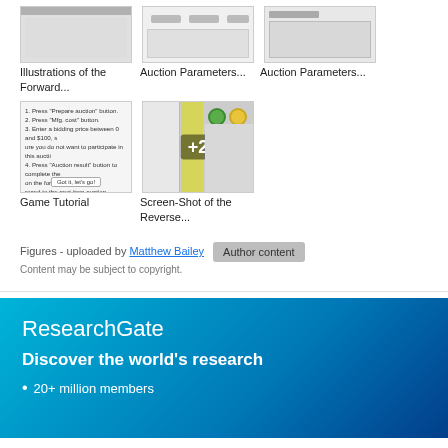[Figure (screenshot): Three thumbnail screenshots in a row: Illustrations of the Forward, Auction Parameters, Auction Parameters]
Illustrations of the Forward...
Auction Parameters...
Auction Parameters...
[Figure (screenshot): Game Tutorial screenshot showing instructional text and a 'Got it, let's go' button]
[Figure (screenshot): Screen-Shot of the Reverse... with yellow bar and +2 badge overlay]
Game Tutorial
Screen-Shot of the Reverse...
Figures - uploaded by Matthew Bailey
Content may be subject to copyright.
ResearchGate
Discover the world's research
20+ million members